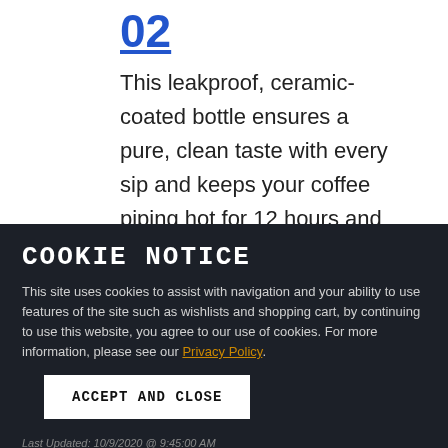02
This leakproof, ceramic-coated bottle ensures a pure, clean taste with every sip and keeps your coffee piping hot for 12 hours and water or
COOKIE NOTICE
This site uses cookies to assist with navigation and your ability to use features of the site such as wishlists and shopping cart, by continuing to use this website, you agree to our use of cookies. For more information, please see our Privacy Policy.
ACCEPT AND CLOSE
Last Updated: 10/9/2020 @ 9:45:00 AM